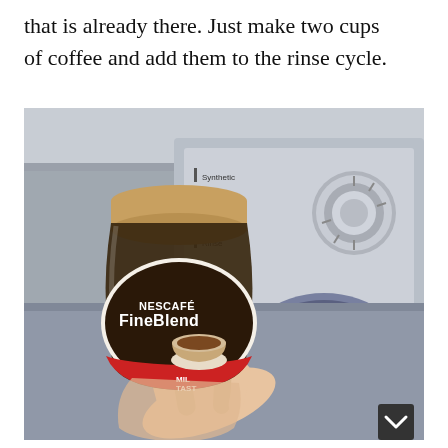that is already there. Just make two cups of coffee and add them to the rinse cycle.
[Figure (photo): A hand holding a jar of Nescafé FineBlend instant coffee in front of a washing machine. The jar has a brown lid and the label shows the Nescafé logo, 'FineBlend' text, and an image of a coffee cup with 'MIL TAST' partially visible. In the background, a washing machine control panel with a dial and settings labels (Synthetic, Wool, CA, Hard Heat, Rinse) is visible.]